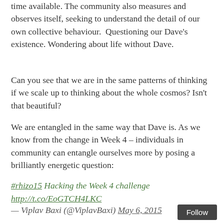time available. The community also measures and observes itself, seeking to understand the detail of our own collective behaviour.  Questioning our Dave's existence. Wondering about life without Dave.
Can you see that we are in the same patterns of thinking if we scale up to thinking about the whole cosmos? Isn't that beautiful?
We are entangled in the same way that Dave is. As we know from the change in Week 4 – individuals in community can entangle ourselves more by posing a brilliantly energetic question:
#rhizo15 Hacking the Week 4 challenge http://t.co/EoGTCH4LKC
— Viplav Baxi (@ViplavBaxi) May 6, 2015